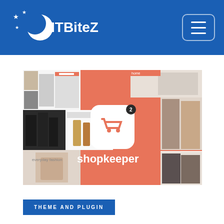ITBiteZ
[Figure (screenshot): Shopkeeper WordPress theme promotional banner with salmon/coral background, showing fashion products, a shopping cart icon with badge, and the text 'shopkeeper' in white.]
THEME AND PLUGIN